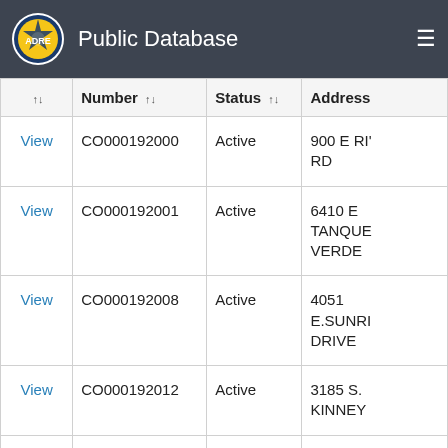Public Database
| ↑↓ | Number ↑↓ | Status ↑↓ | Address |
| --- | --- | --- | --- |
| View | CO000192000 | Active | 900 E RI' RD |
| View | CO000192001 | Active | 6410 E TANQUE VERDE |
| View | CO000192008 | Active | 4051 E.SUNRI DRIVE |
| View | CO000192012 | Active | 3185 S. KINNEY |
| View | CO000192013 | Active | 3540 N... |